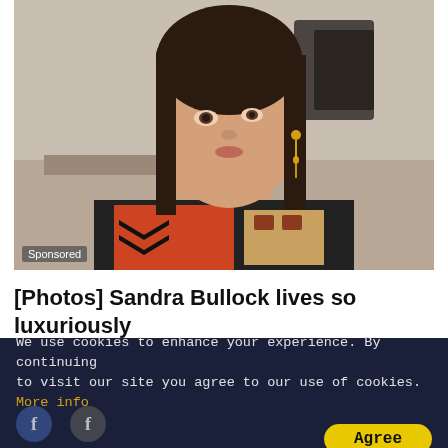[Figure (photo): Woman with long dark hair wearing colorful patterned top, looking to the side, indoor setting. Sponsored content image.]
[Photos] Sandra Bullock lives so luxuriously
Fruitiy
[Figure (photo): Second sponsored content image with teal/green gradient background, partially visible.]
We use cookies to enhance your experience. By continuing to visit our site you agree to our use of cookies. More info